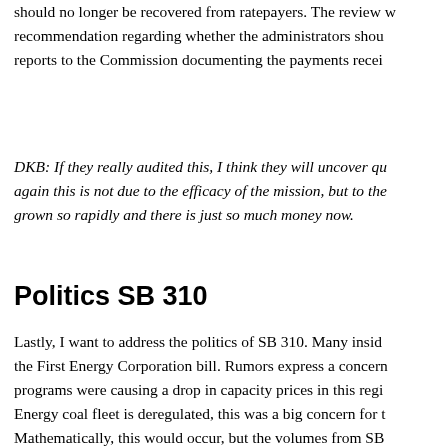should no longer be recovered from ratepayers. The review w recommendation regarding whether the administrators shou reports to the Commission documenting the payments recei
DKB: If they really audited this, I think they will uncover qu again this is not due to the efficacy of the mission, but to the grown so rapidly and there is just so much money now.
Politics SB 310
Lastly, I want to address the politics of SB 310. Many insid the First Energy Corporation bill. Rumors express a concern programs were causing a drop in capacity prices in this regi Energy coal fleet is deregulated, this was a big concern for t Mathematically, this would occur, but the volumes from SB too small to have a significant impact. The real drop in capa function of the aggregators in other parts in the PJM market and stagnating demand which drove the capacity price dow advance technology resource requirements would have only